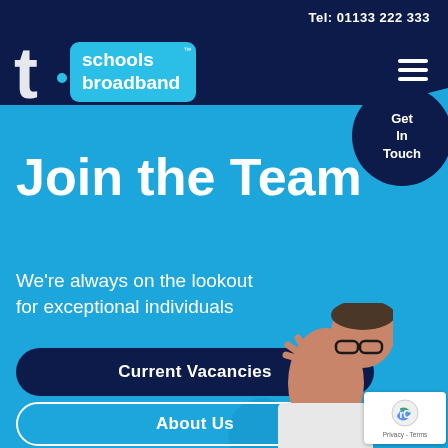Tel: 01133 222 333
[Figure (logo): Schools Broadband logo: stylized 't' letter with light blue rounded rectangle containing 'schools broadband' text]
Get In Touch
Join the Team
We're always on the lookout for exceptional individuals
Current Vacancies
About Us
[Figure (photo): Person making OK sign with hand, wearing glasses, photo cropped at bottom right]
[Figure (other): reCAPTCHA badge with Privacy - Terms text]